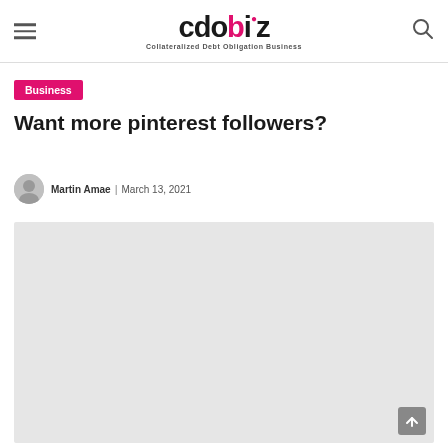CDObiz — Collateralized Debt Obligation Business
Business
Want more pinterest followers?
Martin Amae · March 13, 2021
[Figure (photo): Featured article image placeholder — light grey rectangle]